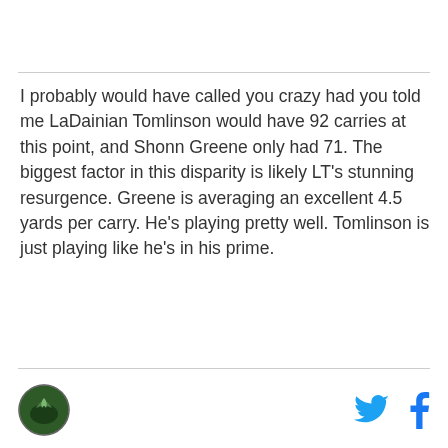I probably would have called you crazy had you told me LaDainian Tomlinson would have 92 carries at this point, and Shonn Greene only had 71. The biggest factor in this disparity is likely LT's stunning resurgence. Greene is averaging an excellent 4.5 yards per carry. He's playing pretty well. Tomlinson is just playing like he's in his prime.
[Figure (logo): Circular logo with bird/eagle silhouette on dark green background]
[Figure (logo): Twitter bird icon in cyan/blue]
[Figure (logo): Facebook 'f' icon in blue]